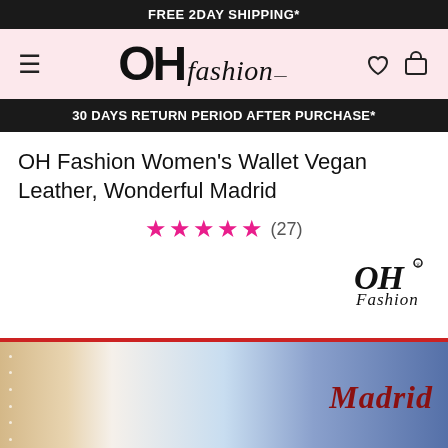FREE 2DAY SHIPPING*
[Figure (logo): OH fashion logo with hamburger menu and cart/heart icons on pink background]
30 DAYS RETURN PERIOD AFTER PURCHASE*
OH Fashion Women's Wallet Vegan Leather, Wonderful Madrid
★★★★★ (27)
[Figure (logo): OH Fashion brand script logo]
[Figure (photo): Product photo of Madrid-themed wallet with red zipper showing city scene and Madrid script text]